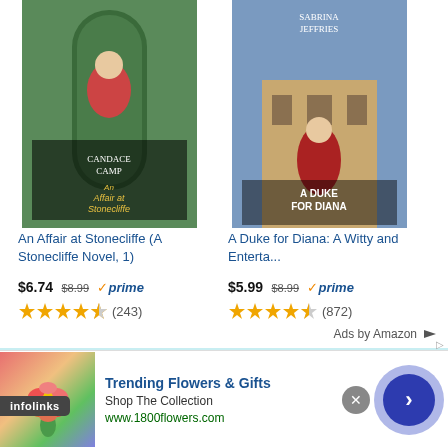[Figure (illustration): Book cover for 'An Affair at Stonecliffe' by Candace Camp – woman in red dress in garden archway]
An Affair at Stonecliffe (A Stonecliffe Novel, 1)
$6.74 $8.99 ✓prime (243 ratings, 4 out of 5 stars)
[Figure (illustration): Book cover for 'A Duke for Diana' by Sabrina Jeffries – woman in red Regency dress]
A Duke for Diana: A Witty and Enterta...
$5.99 $8.99 ✓prime (872 ratings, 4 out of 5 stars)
Ads by Amazon
Our blog uses cookies to ensure you get the best experience while visiting. Please refer to our Privacy Policy by using the navigation above
infolinks
Trending Flowers & Gifts
Shop The Collection
www.1800flowers.com